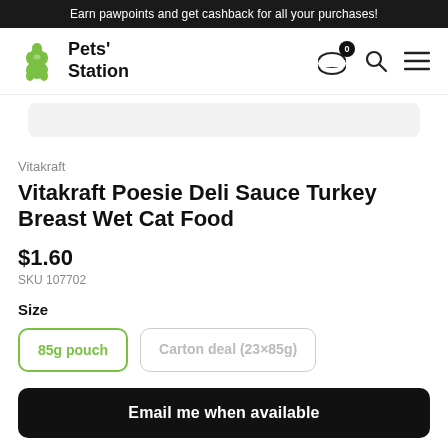Earn pawpoints and get cashback for all your purchases!
[Figure (logo): Pets' Station logo with green poodle icon and bold text 'Pets' Station']
Vitakraft
Vitakraft Poesie Deli Sauce Turkey Breast Wet Cat Food
$1.60
SKU 107702
Size
85g pouch
Carton deal (23×85g)
Email me when available